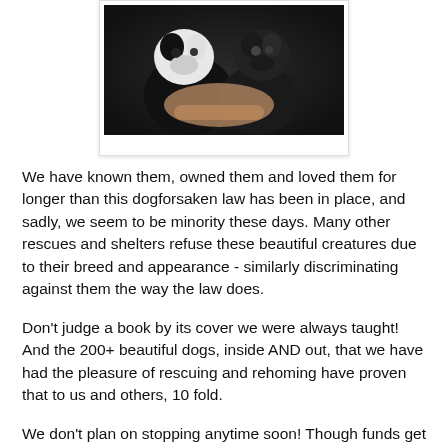[Figure (photo): Two black and white puppies/dogs being held in a person's hands, close-up photo in a white polaroid-style frame]
We have known them, owned them and loved them for longer than this dogforsaken law has been in place, and sadly, we seem to be minority these days. Many other rescues and shelters refuse these beautiful creatures due to their breed and appearance - similarly discriminating against them the way the law does.
Don't judge a book by its cover we were always taught! And the 200+ beautiful dogs, inside AND out, that we have had the pleasure of rescuing and rehoming have proven that to us and others, 10 fold.
We don't plan on stopping anytime soon! Though funds get tight, volunteers and foster homes sparse, we will always do what we can, when we can for dogs in need.